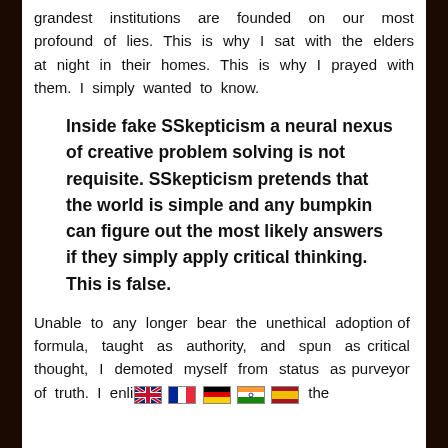grandest institutions are founded on our most profound of lies. This is why I sat with the elders at night in their homes. This is why I prayed with them. I simply wanted to know.
Inside fake SSkepticism a neural nexus of creative problem solving is not requisite. SSkepticism pretends that the world is simple and any bumpkin can figure out the most likely answers if they simply apply critical thinking.  This is false.
Unable to any longer bear the unethical adoption of formula, taught as authority, and spun as critical thought, I demoted myself from status as purveyor of truth. I enlisted [flags] the...